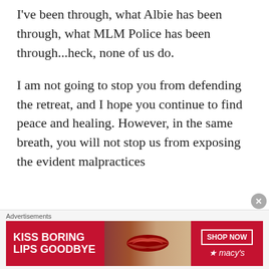I've been through, what Albie has been through, what MLM Police has been through...heck, none of us do.
I am not going to stop you from defending the retreat, and I hope you continue to find peace and healing. However, in the same breath, you will not stop us from exposing the evident malpractices
[Figure (other): Advertisement banner for Macy's lipstick promotion. Red background with white text 'KISS BORING LIPS GOODBYE' on the left, a woman's face with red lips in the center, and 'SHOP NOW' button with Macy's star logo on the right.]